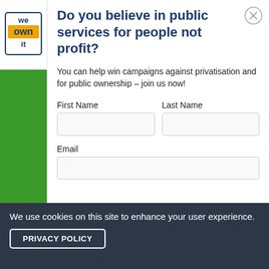[Figure (logo): We Own It logo — text 'we own it' in a badge/stamp style with dark blue text on white/yellow background]
Do you believe in public services for people not profit?
You can help win campaigns against privatisation and for public ownership – join us now!
First Name [input field]   Last Name [input field]
Email [input field]
We use cookies on this site to enhance your user experience.
PRIVACY POLICY